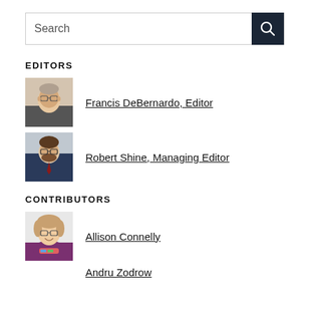[Figure (other): Search bar with text input and dark blue search button with magnifying glass icon]
EDITORS
[Figure (photo): Photo of Francis DeBernardo, an older man with glasses and grey hair]
Francis DeBernardo, Editor
[Figure (photo): Photo of Robert Shine, a young man with glasses and a beard wearing a suit]
Robert Shine, Managing Editor
CONTRIBUTORS
[Figure (photo): Photo of Allison Connelly, a woman with glasses and curly hair]
Allison Connelly
Andru Zodrow